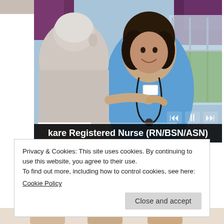[Figure (photo): A smiling female nurse in blue scrubs with a stethoscope around her neck, reaching out to touch an elderly patient who is seated with their back to the camera. Background shows a window with purple curtains. Video player controls visible at bottom. Title bar reads: kare Registered Nurse (RN/BSN/ASN)]
Privacy & Cookies: This site uses cookies. By continuing to use this website, you agree to their use.
To find out more, including how to control cookies, see here:
Cookie Policy
Close and accept